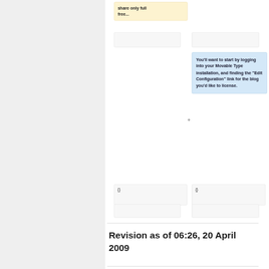share only full free...
You'll want to start by logging into your Movable Type installation, and finding the "Edit Configuration" link for the blog you'd like to license.
{}
{}
Revision as of 06:26, 20 April 2009